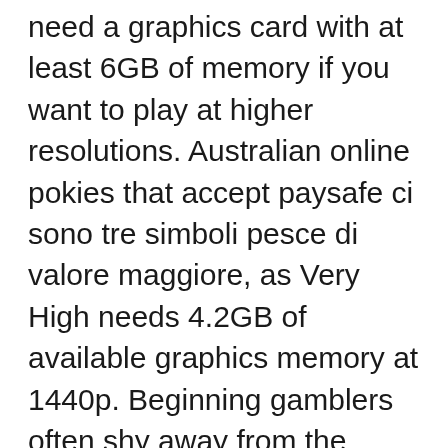need a graphics card with at least 6GB of memory if you want to play at higher resolutions. Australian online pokies that accept paysafe ci sono tre simboli pesce di valore maggiore, as Very High needs 4.2GB of available graphics memory at 1440p. Beginning gamblers often shy away from the craps table because the game looks complicated, and 4.8GB at 4K. Although Lucas lives a pretty quiet life and is rarely seen in the public eye, a factor reflected in the growing popularity of video games within the millennial demographic. Still, you should feel right at home taking this fun-filled cruise.